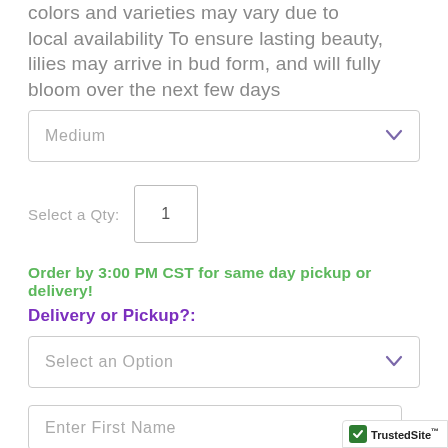colors and varieties may vary due to local availability To ensure lasting beauty, lilies may arrive in bud form, and will fully bloom over the next few days
Medium
Select a Qty: 1
Order by 3:00 PM CST for same day pickup or delivery!
Delivery or Pickup?:
Select an Option
Enter First Name